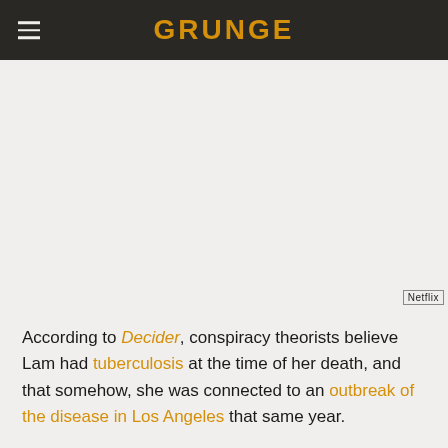GRUNGE
[Figure (other): Advertisement area (blank/grey) with Netflix watermark badge in bottom right corner]
According to Decider, conspiracy theorists believe Lam had tuberculosis at the time of her death, and that somehow, she was connected to an outbreak of the disease in Los Angeles that same year.
The theory states that Lam was sick, and her odd